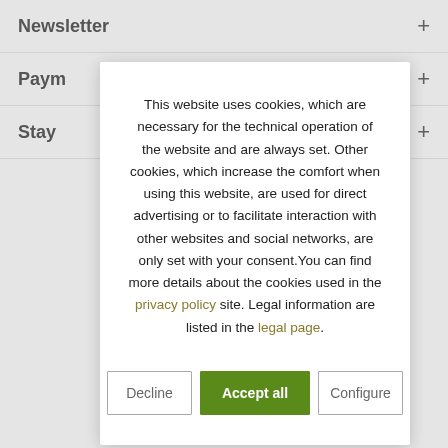Newsletter +
Paym... +
Stay... +
This website uses cookies, which are necessary for the technical operation of the website and are always set. Other cookies, which increase the comfort when using this website, are used for direct advertising or to facilitate interaction with other websites and social networks, are only set with your consent.You can find more details about the cookies used in the privacy policy site. Legal information are listed in the legal page.
Decline | Accept all | Configure